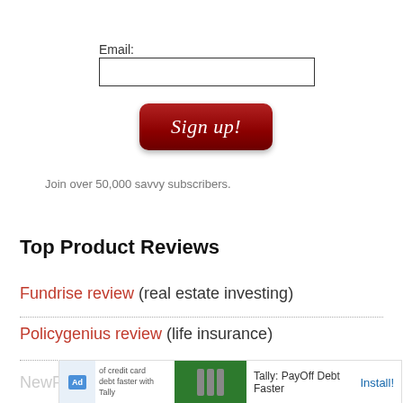Email:
[Figure (screenshot): Email input text field with border]
[Figure (screenshot): Sign up! button with dark red gradient and italic serif text]
Join over 50,000 savvy subscribers.
Top Product Reviews
Fundrise review (real estate investing)
Policygenius review (life insurance)
[Figure (screenshot): Advertisement banner: Tally PayOff Debt Faster with Install button]